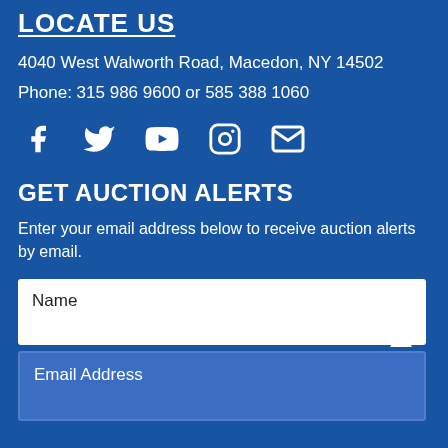LOCATE US
4040 West Walworth Road, Macedon, NY 14502
Phone: 315 986 9600 or 585 388 1060
[Figure (infographic): Social media icons: Facebook, Twitter, YouTube, Instagram, Email]
GET AUCTION ALERTS
Enter your email address below to receive auction alerts by email.
Name
Email Address